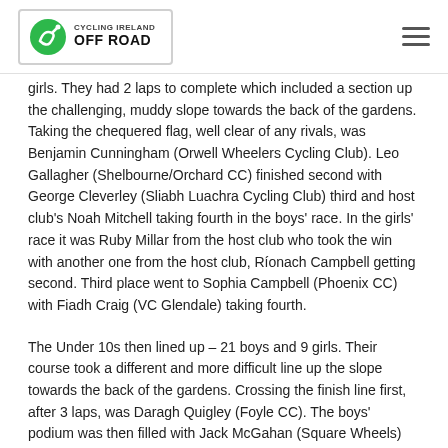Cycling Ireland Off Road
girls. They had 2 laps to complete which included a section up the challenging, muddy slope towards the back of the gardens. Taking the chequered flag, well clear of any rivals, was Benjamin Cunningham (Orwell Wheelers Cycling Club). Leo Gallagher (Shelbourne/Orchard CC) finished second with George Cleverley (Sliabh Luachra Cycling Club) third and host club's Noah Mitchell taking fourth in the boys' race. In the girls' race it was Ruby Millar from the host club who took the win with another one from the host club, Ríonach Campbell getting second. Third place went to Sophia Campbell (Phoenix CC) with Fiadh Craig (VC Glendale) taking fourth.
The Under 10s then lined up – 21 boys and 9 girls. Their course took a different and more difficult line up the slope towards the back of the gardens. Crossing the finish line first, after 3 laps, was Daragh Quigley (Foyle CC). The boys' podium was then filled with Jack McGahan (Square Wheels) and Ewan Ewart (Belfast City BMX Club) who finished second and third respectively. Aoife Campbell